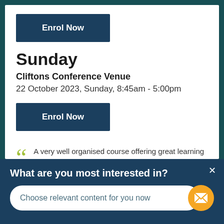Enrol Now
Sunday
Cliftons Conference Venue
22 October 2023, Sunday, 8:45am - 5:00pm
Enrol Now
A very well organised course offering great learning resources, with an opportunity to interact with highly skilled professionals over
What are you most interested in?
Choose relevant content for you now